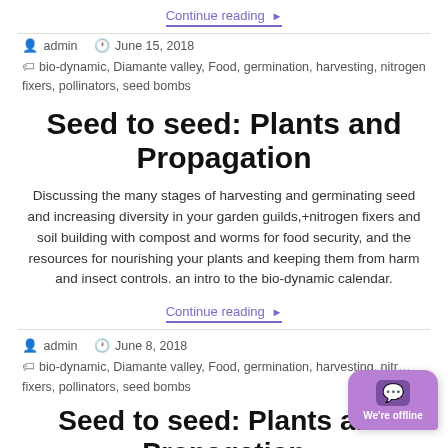Continue reading ▶
admin   June 15, 2018
bio-dynamic, Diamante valley, Food, germination, harvesting, nitrogen fixers, pollinators, seed bombs
Seed to seed: Plants and Propagation
Discussing the many stages of harvesting and germinating seed and increasing diversity in your garden guilds,+nitrogen fixers and soil building with compost and worms for food security, and the resources for nourishing your plants and keeping them from harm and insect controls. an intro to the bio-dynamic calendar.
Continue reading ▶
admin   June 8, 2018
bio-dynamic, Diamante valley, Food, germination, harvesting, nitrogen fixers, pollinators, seed bombs
Seed to seed: Plants and Propagation